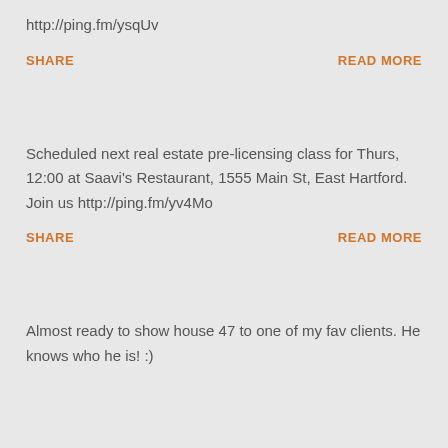http://ping.fm/ysqUv
SHARE     READ MORE
Scheduled next real estate pre-licensing class for Thurs, 12:00 at Saavi's Restaurant, 1555 Main St, East Hartford. Join us http://ping.fm/yv4Mo
SHARE     READ MORE
Almost ready to show house 47 to one of my fav clients. He knows who he is! :)